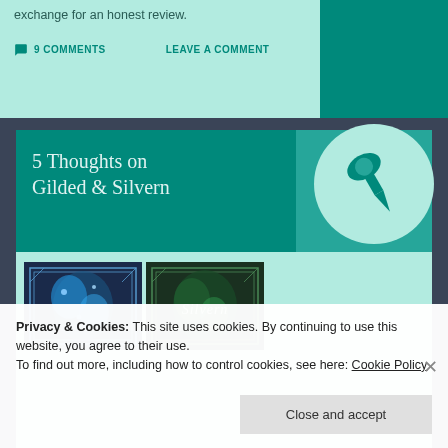exchange for an honest review.
9 COMMENTS   LEAVE A COMMENT
5 Thoughts on Gilded & Silvern
[Figure (illustration): Book covers for Gilded and Silvern side by side]
[Figure (illustration): Pin/thumbtack icon in a light green circle on teal background]
Privacy & Cookies: This site uses cookies. By continuing to use this website, you agree to their use.
To find out more, including how to control cookies, see here: Cookie Policy
Close and accept